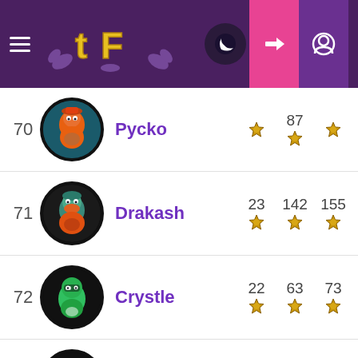[Figure (screenshot): Navigation header with hamburger menu, TF logo, moon/dark mode button, login button (pink), and profile button (purple)]
| Rank | Avatar | Username | Star col 1 | Star col 2 | Star col 3 |
| --- | --- | --- | --- | --- | --- |
| 70 | Pycko avatar | Pycko | ★ | 87 ★ | ★ |
| 71 | Drakash avatar | Drakash | 23 ★ | 142 ★ | 155 ★ |
| 72 | Crystle avatar | Crystle | 22 ★ | 63 ★ | 73 ★ |
| 73 | Sherald avatar | Sherald | 23 ★ | 20 ★ | 243 ★ |